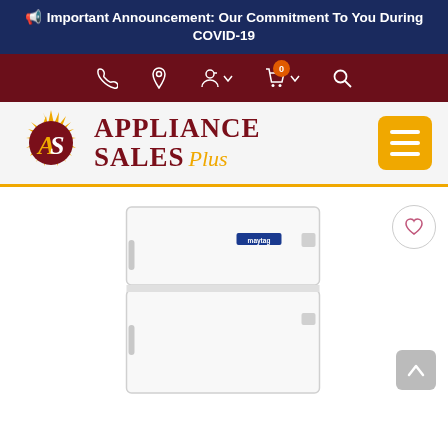📣 Important Announcement: Our Commitment To You During COVID-19
[Figure (screenshot): Website navigation bar with icons: phone, location pin, user account with dropdown, shopping cart with badge showing 0 items, and search icon on dark red background]
[Figure (logo): Appliance Sales Plus logo with sunburst emblem containing AS letters, text reads APPLIANCE SALES Plus in dark red and gold colors, with yellow hamburger menu button]
[Figure (photo): White top-freezer refrigerator product image on white background with wishlist heart button and scroll-to-top arrow button]